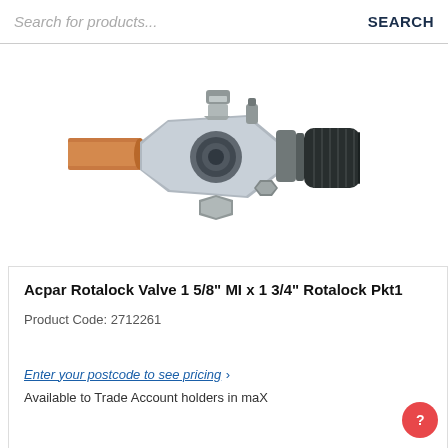Search for products...   SEARCH
[Figure (photo): Acpar Rotalock Valve with copper pipe connection on left, silver metal body, and black plastic cap on right side]
Acpar Rotalock Valve 1 5/8" MI x 1 3/4" Rotalock Pkt1
Product Code: 2712261
Enter your postcode to see pricing ›
Available to Trade Account holders in maX